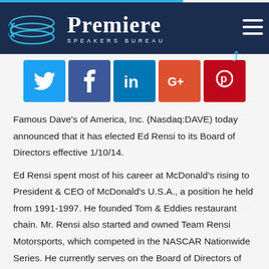Premiere Speakers Bureau
[Figure (logo): Premiere Speakers Bureau logo with stacked disk icon and text on dark navy background]
[Figure (infographic): Social media sharing icons: Twitter, Facebook, LinkedIn, Google+, Pinterest]
Famous Dave's of America, Inc. (Nasdaq:DAVE) today announced that it has elected Ed Rensi to its Board of Directors effective 1/10/14.
Ed Rensi spent most of his career at McDonald's rising to President & CEO of McDonald's U.S.A., a position he held from 1991-1997. He founded Tom & Eddies restaurant chain. Mr. Rensi also started and owned Team Rensi Motorsports, which competed in the NASCAR Nationwide Series. He currently serves on the Board of Directors of Snap-On Incorporated. He has served on the board of